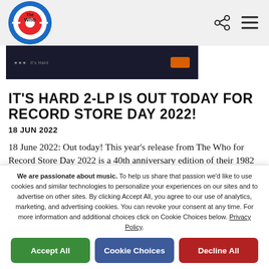The Who — site header with logo and navigation icons
[Figure (screenshot): Small album cover thumbnail — dark background with orange button element]
IT'S HARD 2-LP IS OUT TODAY FOR RECORD STORE DAY 2022!
18 JUN 2022
18 June 2022: Out today! This year's release from The Who for Record Store Day 2022 is a 40th anniversary edition of their 1982 album It's Hard. The original album
We are passionate about music. To help us share that passion we'd like to use cookies and similar technologies to personalize your experiences on our sites and to advertise on other sites. By clicking Accept All, you agree to our use of analytics, marketing, and advertising cookies. You can revoke your consent at any time. For more information and additional choices click on Cookie Choices below. Privacy Policy.